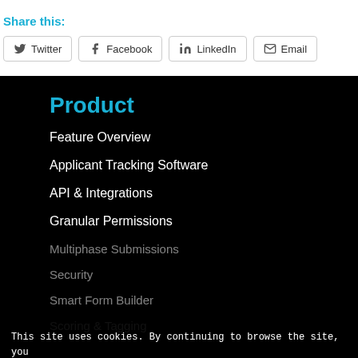Share this:
Twitter
Facebook
LinkedIn
Email
Product
Feature Overview
Applicant Tracking Software
API & Integrations
Granular Permissions
Multiphase Submissions
Security
Smart Form Builder
Scoring & Tagging
This site uses cookies. By continuing to browse the site, you are agreeing to our use of cookies.
Cookie Policy
Ok